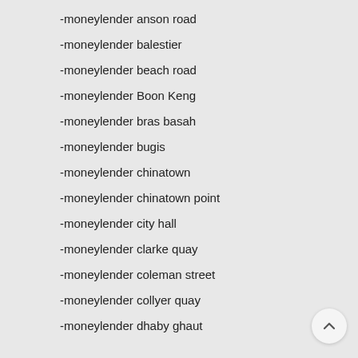-moneylender anson road
-moneylender balestier
-moneylender beach road
-moneylender Boon Keng
-moneylender bras basah
-moneylender bugis
-moneylender chinatown
-moneylender chinatown point
-moneylender city hall
-moneylender clarke quay
-moneylender coleman street
-moneylender collyer quay
-moneylender dhaby ghaut